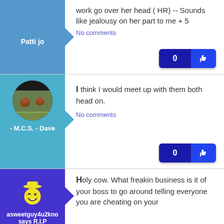Patti jo
work go over her head ( HR) -- Sounds like jealousy on her part to me + 5
No comments
0
[Figure (photo): Profile photo of horses in a field, circular crop]
- M.C.S. - Dave
I think I would meet up with them both head on.
No comments
0
[Figure (illustration): Cartoon smiley face with winking expression and hat]
asweetguy4u2kno says R.I.P
Holy cow. What freakin business is it of your boss to go around telling everyone you are cheating on your